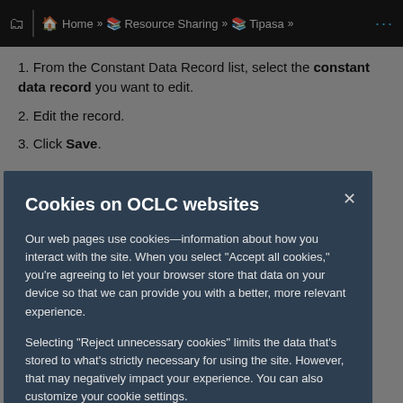Home » Resource Sharing » Tipasa »
1. From the Constant Data Record list, select the constant data record you want to edit.
2. Edit the record.
3. Click Save.
To delete a constant data record:
Cookies on OCLC websites
Our web pages use cookies—information about how you interact with the site. When you select “Accept all cookies,” you’re agreeing to let your browser store that data on your device so that we can provide you with a better, more relevant experience.
Selecting “Reject unnecessary cookies” limits the data that’s stored to what’s strictly necessary for using the site. However, that may negatively impact your experience. You can also customize your cookie settings.
See our Cookie Notice for more information